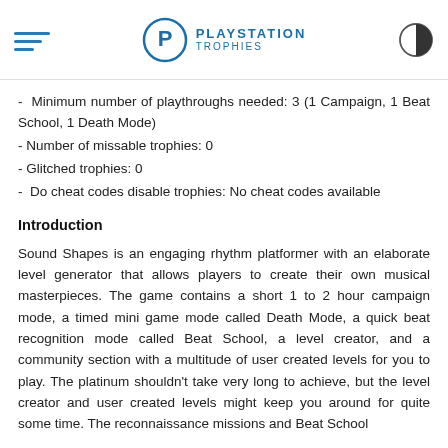PlayStation Trophies
- Minimum number of playthroughs needed: 3 (1 Campaign, 1 Beat School, 1 Death Mode)
- Number of missable trophies: 0
- Glitched trophies: 0
- Do cheat codes disable trophies: No cheat codes available
Introduction
Sound Shapes is an engaging rhythm platformer with an elaborate level generator that allows players to create their own musical masterpieces. The game contains a short 1 to 2 hour campaign mode, a timed mini game mode called Death Mode, a quick beat recognition mode called Beat School, a level creator, and a community section with a multitude of user created levels for you to play. The platinum shouldn't take very long to achieve, but the level creator and user created levels might keep you around for quite some time. The reconnaissance missions and Beat School...